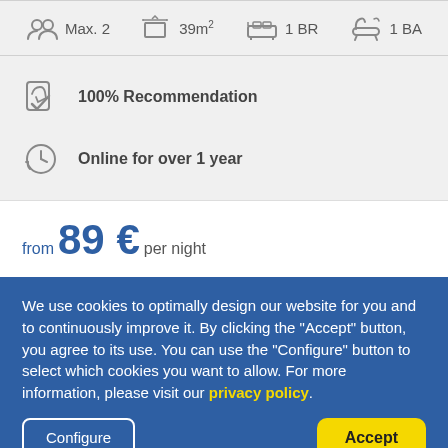Max. 2  39m²  1 BR  1 BA
100% Recommendation
Online for over 1 year
from 89 € per night
We use cookies to optimally design our website for you and to continuously improve it. By clicking the "Accept" button, you agree to its use. You can use the "Configure" button to select which cookies you want to allow. For more information, please visit our privacy policy.